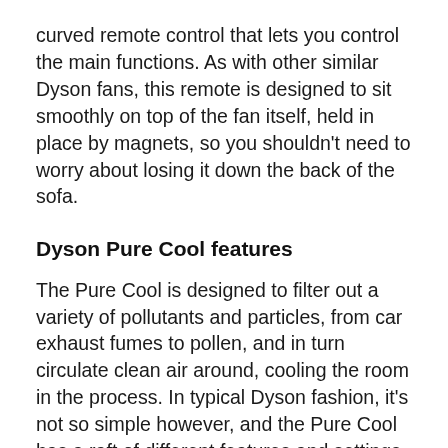curved remote control that lets you control the main functions. As with other similar Dyson fans, this remote is designed to sit smoothly on top of the fan itself, held in place by magnets, so you shouldn't need to worry about losing it down the back of the sofa.
Dyson Pure Cool features
The Pure Cool is designed to filter out a variety of pollutants and particles, from car exhaust fumes to pollen, and in turn circulate clean air around, cooling the room in the process. In typical Dyson fashion, it's not so simple however, and the Pure Cool has a raft of different features and settings to run through.
In the app, you'd also find if there is the Dyson